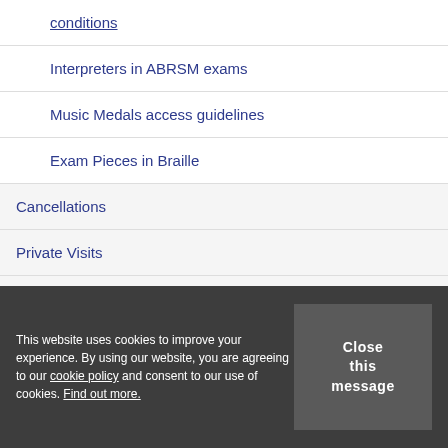conditions
Interpreters in ABRSM exams
Music Medals access guidelines
Exam Pieces in Braille
Cancellations
Private Visits
Contact IDs
This website uses cookies to improve your experience. By using our website, you are agreeing to our cookie policy and consent to our use of cookies. Find out more.
Close this message